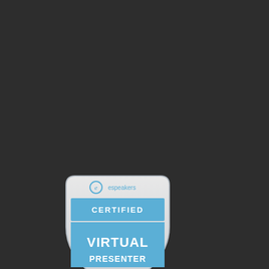[Figure (logo): eSpeakers Certified Virtual Presenter badge/shield logo in blue and white]
[Figure (infographic): Social media icons: Facebook, LinkedIn, Twitter, Instagram, RSS feed in cyan/teal color]
Insights in your Inbox
This website uses cookies to improve your experience. By clicking OK or continuing to browse you agree to the use of cookies. For more information, refer to our cookie policy.